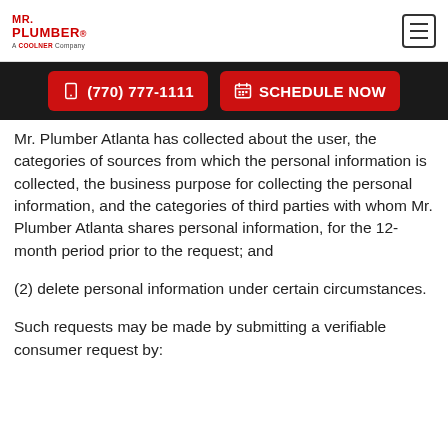Mr. Plumber – A Coolner Company | (770) 777-1111 | SCHEDULE NOW
Mr. Plumber Atlanta has collected about the user, the categories of sources from which the personal information is collected, the business purpose for collecting the personal information, and the categories of third parties with whom Mr. Plumber Atlanta shares personal information, for the 12-month period prior to the request; and
(2) delete personal information under certain circumstances.
Such requests may be made by submitting a verifiable consumer request by: